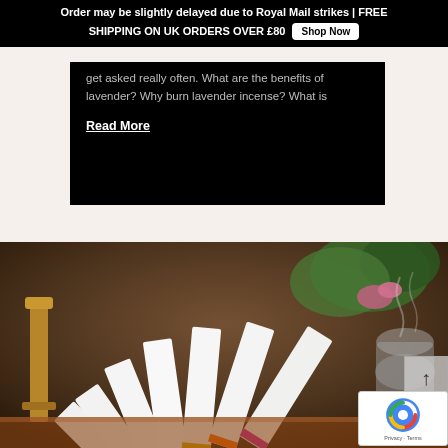Order may be slightly delayed due to Royal Mail strikes | FREE SHIPPING ON UK ORDERS OVER £80  Shop Now
get asked really often. What are the benefits of lavender? Why burn lavender incense? What is
Read More
[Figure (photo): Fan arrangement of white incense product boxes spread out on a decorative table with candle holders and flowers in the background. A reCAPTCHA badge and scroll-to-top button are visible in the bottom-right corner.]